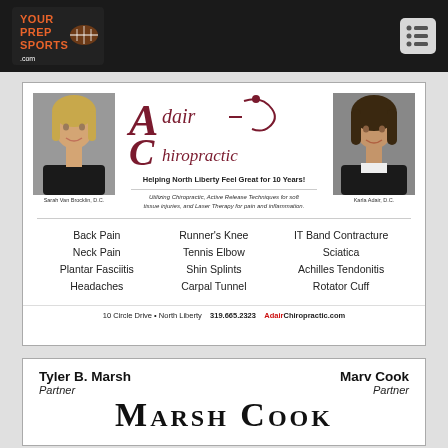YourPrepSports.com
[Figure (other): Adair Chiropractic advertisement with two doctor photos, logo, tagline, services list, and contact info]
[Figure (other): Marsh Cook law firm advertisement with names Tyler B. Marsh (Partner) and Marv Cook (Partner) and large firm name]